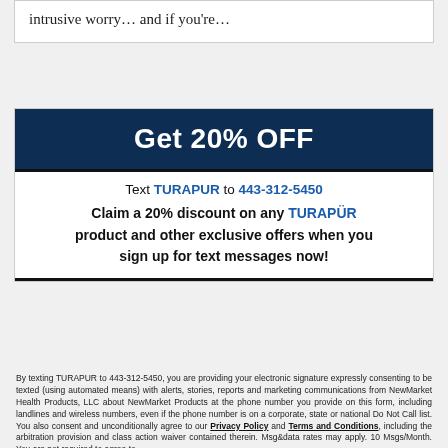intrusive worry… and if you're…
[Figure (infographic): Advertisement banner: Get 20% OFF. Text TURAPUR to 443-312-5450. Claim a 20% discount on any TURAPÜR product and other exclusive offers when you sign up for text messages now!]
By texting TURAPUR to 443-312-5450, you are providing your electronic signature expressly consenting to be texted (using automated means) with alerts, stories, reports and marketing communications from NewMarket Health Products, LLC about NewMarket Products at the phone number you provide on this form, including landlines and wireless numbers, even if the phone number is on a corporate, state or national Do Not Call list. You also consent and unconditionally agree to our Privacy Policy and Terms and Conditions, including the arbitration provision and class action waiver contained therein. Msg&data rates may apply. 10 Msgs/Month. You are not required to agree to